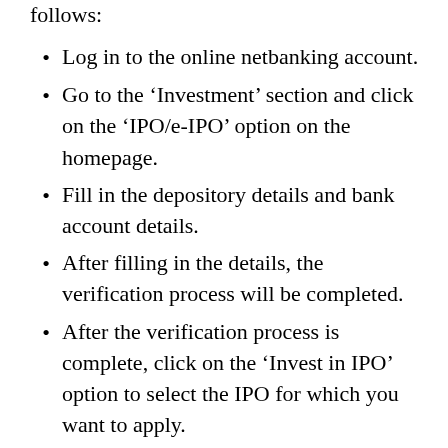follows:
Log in to the online netbanking account.
Go to the ‘Investment’ section and click on the ‘IPO/e-IPO’ option on the homepage.
Fill in the depository details and bank account details.
After filling in the details, the verification process will be completed.
After the verification process is complete, click on the ‘Invest in IPO’ option to select the IPO for which you want to apply.
Click on ‘LIC IPO’, and add the number of shares and the bid price.
Go through the terms and conditions